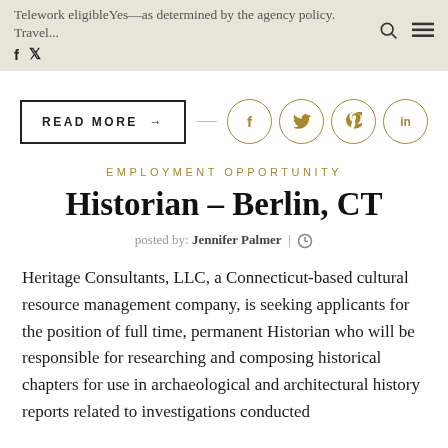Telework eligibleYes—as determined by the agency policy. Travel...
READ MORE →
EMPLOYMENT OPPORTUNITY
Historian – Berlin, CT
posted by: Jennifer Palmer  |  🕐
Heritage Consultants, LLC, a Connecticut-based cultural resource management company, is seeking applicants for the position of full time, permanent Historian who will be responsible for researching and composing historical chapters for use in archaeological and architectural history reports related to investigations conducted